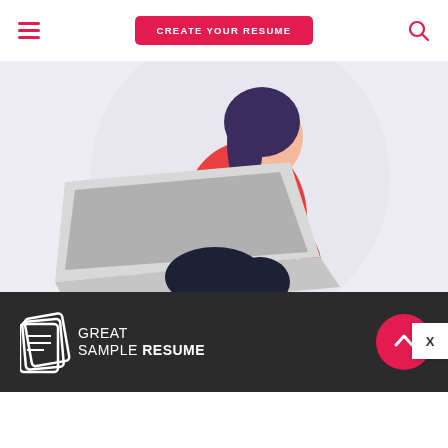[Figure (screenshot): Website header with hamburger menu icon on left, red 'CREATE YOUR RESUME' button in center, and search icon on right]
[Figure (illustration): Illustration of a woman with dark hair wearing a red top and dark pants, sitting and typing on a laptop. Light purple circular background behind her.]
[Figure (logo): Great Sample Resume logo on dark background with scroll-to-top red circle button and X close button]
GREAT SAMPLE RESUME